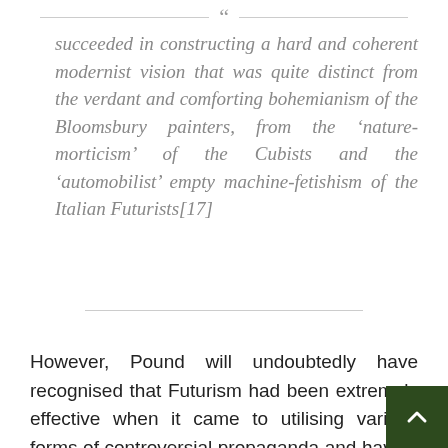succeeded in constructing a hard and coherent modernist vision that was quite distinct from the verdant and comforting bohemianism of the Bloomsbury painters, from the ‘nature-morticism’ of the Cubists and the ‘automobilist’ empty machine-fetishism of the Italian Futurists[17]
However, Pound will undoubtedly have recognised that Futurism had been extremely effective when it came to utilising various forms of controversial propaganda and having both the ability and wherewithal to grab the headlines.